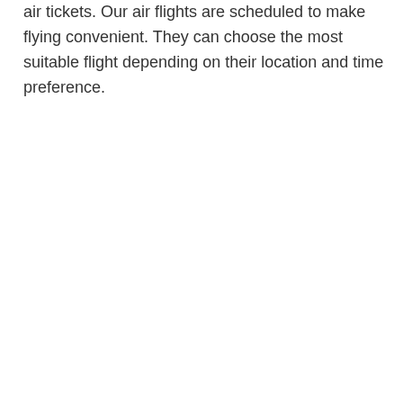air tickets. Our air flights are scheduled to make flying convenient. They can choose the most suitable flight depending on their location and time preference.
[Figure (screenshot): A scroll-to-top button (up arrow in a square box) overlaid on a media player error overlay showing 'No compatible source was found for this media.' with an X close icon, partially covering a blurred background image with partial text 'FL...' at the bottom.]